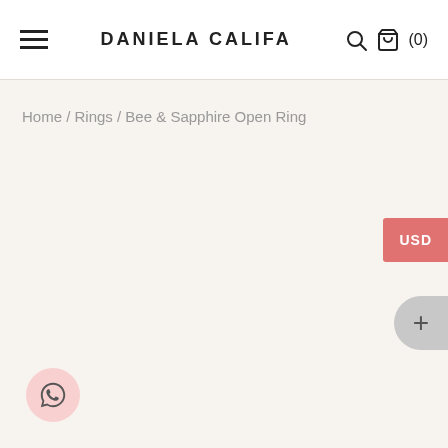DANIELA CALIFA
Home / Rings / Bee & Sapphire Open Ring
[Figure (other): USD currency selector button (salmon/coral color)]
[Figure (other): Plus button (gray circular)]
[Figure (other): WhatsApp contact button (pink circular)]